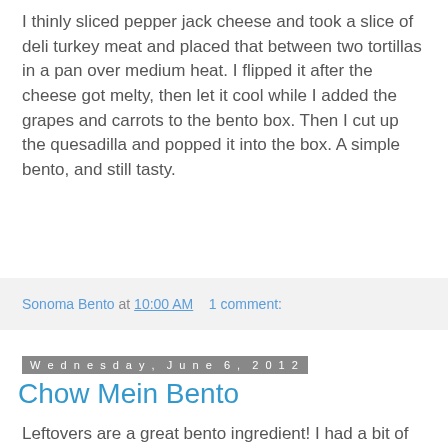I thinly sliced pepper jack cheese and took a slice of deli turkey meat and placed that between two tortillas in a pan over medium heat. I flipped it after the cheese got melty, then let it cool while I added the grapes and carrots to the bento box. Then I cut up the quesadilla and popped it into the box. A simple bento, and still tasty.
Sonoma Bento at 10:00 AM   1 comment:
Wednesday, June 6, 2012
Chow Mein Bento
Leftovers are a great bento ingredient! I had a bit of pork chow mein leftover from our dinner the other night, so I added it to this bento for a tasty lunch.
[Figure (photo): Photo of a bento box with green vegetables and food items, with 'Sonoma Bento' text overlay]